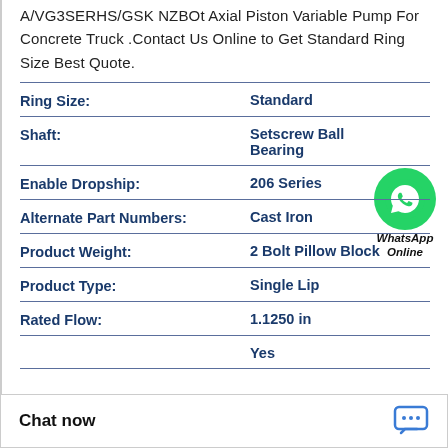A/VG3SERHS/GSK NZBOt Axial Piston Variable Pump For Concrete Truck .Contact Us Online to Get Standard Ring Size Best Quote.
| Property | Value |
| --- | --- |
| Ring Size: | Standard |
| Shaft: | Setscrew Ball Bearing |
| Enable Dropship: | 206 Series |
| Alternate Part Numbers: | Cast Iron |
| Product Weight: | 2 Bolt Pillow Block |
| Product Type: | Single Lip |
| Rated Flow: | 1.1250 in |
|  | Yes |
Chat now